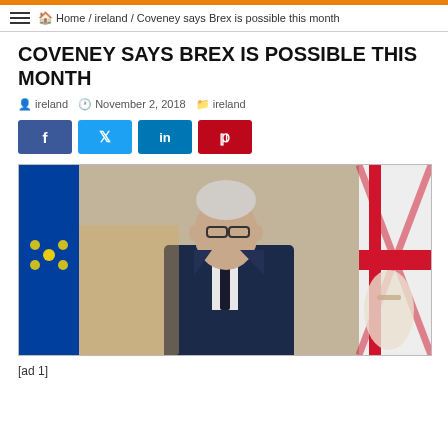Home / ireland / Coveney says Brex is possible this month
COVENEY SAYS BREX IS POSSIBLE THIS MONTH
ireland   November 2, 2018   ireland
[Figure (photo): Man in dark suit with glasses speaking, EU flag on left, UK flag on right, ornate interior background]
[ad  1]